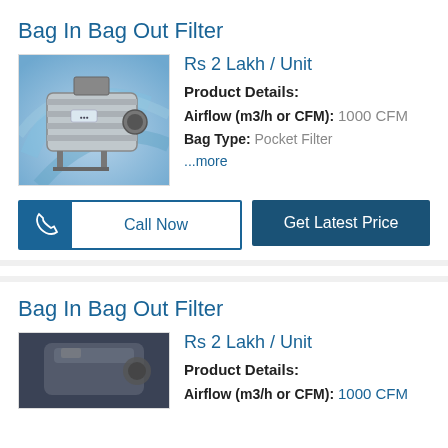Bag In Bag Out Filter
[Figure (photo): Industrial Bag In Bag Out Filter unit, metallic/stainless steel cylindrical housing on a frame, blue swirl background]
Rs 2 Lakh / Unit
Product Details:
Airflow (m3/h or CFM): 1000 CFM
Bag Type: Pocket Filter
...more
Call Now
Get Latest Price
Bag In Bag Out Filter
[Figure (photo): Dark background industrial filter unit, partially visible]
Rs 2 Lakh / Unit
Product Details:
Airflow (m3/h or CFM): 1000 CFM